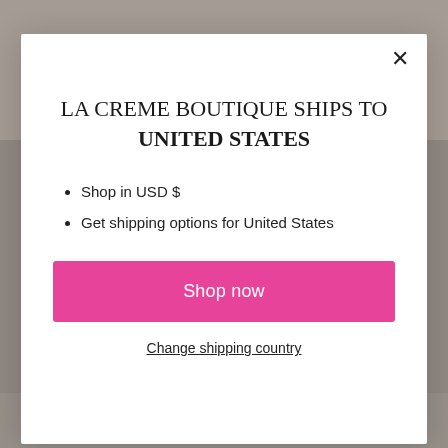[Figure (screenshot): Background showing a fashion/clothing website with a beige/nude colored garment photo visible at top and bottom price area visible at bottom]
LA CREME BOUTIQUE SHIPS TO UNITED STATES
Shop in USD $
Get shipping options for United States
Shop now
Change shipping country
£45.00  £24.50  Save 50%